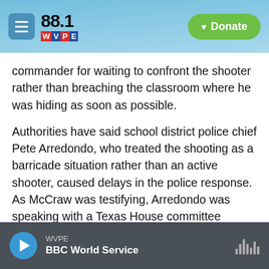88.1 WVPE — Donate
commander for waiting to confront the shooter rather than breaching the classroom where he was hiding as soon as possible.
Authorities have said school district police chief Pete Arredondo, who treated the shooting as a barricade situation rather than an active shooter, caused delays in the police response. As McCraw was testifying, Arredondo was speaking with a Texas House committee behind closed doors.
State Sen. Paul Bettencourt criticized Arredondo during the hearing. He said, "I challenge this chief
WVPE — BBC World Service